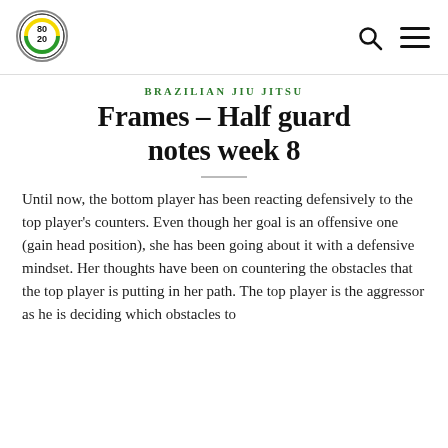BRAZILIAN JIU JITSU
Frames – Half guard notes week 8
Until now, the bottom player has been reacting defensively to the top player's counters. Even though her goal is an offensive one (gain head position), she has been going about it with a defensive mindset. Her thoughts have been on countering the obstacles that the top player is putting in her path. The top player is the aggressor as he is deciding which obstacles to